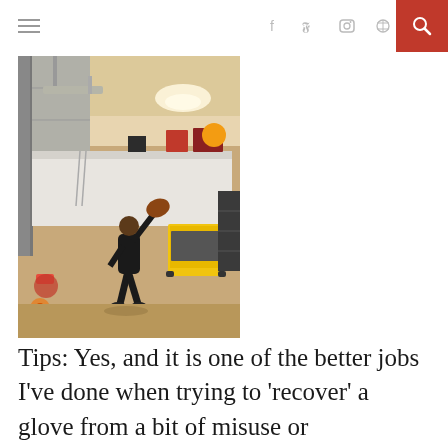≡  f  twitter  instagram  pinterest  🔍
[Figure (photo): A person playing with a baseball glove inside a garage gym, throwing or catching. The garage has white walls, storage shelves, and gym equipment visible in the background.]
Tips: Yes, and it is one of the better jobs I've done when trying to 'recover' a glove from a bit of misuse or